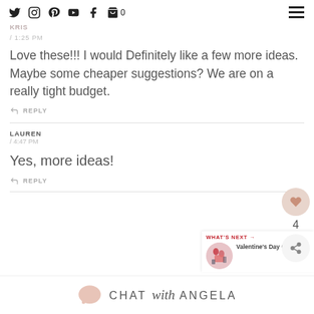Social icons and navigation header
KRIS
/ 1:25 PM
Love these!!! I would Definitely like a few more ideas. Maybe some cheaper suggestions? We are on a really tight budget.
REPLY
LAUREN
/ 4:47 PM
Yes, more ideas!
REPLY
[Figure (other): What's Next promotional widget showing Valentine's Day Gift Guide]
CHAT with ANGELA